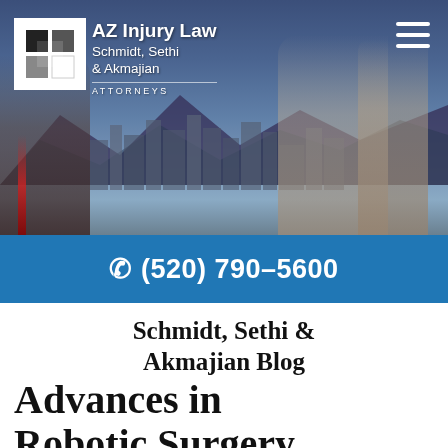[Figure (screenshot): Law firm website header banner with city skyline background, three attorneys in suits, AZ Injury Law Schmidt, Sethi & Akmajian logo on the left, and hamburger menu icon on the right]
📞 (520) 790-5600
Schmidt, Sethi & Akmajian Blog
Advances in Robotic Surgery and Malpractice